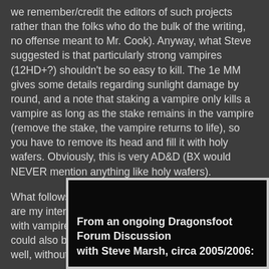we remember/credit the editors of such projects rather than the folks who do the bulk of the writing, no offense meant to Mr. Cook). Anyway, what Steve suggested is that particularly strong vampires (12HD+?) shouldn't be so easy to kill. The 1e MM gives some details regarding sunlight damage by round, and a note that staking a vampire only kills a vampire as long as the stake remains in the vampire (remove the stake, the vampire returns to life), so you have to remove its head and fill it with holy wafers. Obviously, this is very AD&D (BX would NEVER mention anything like holy wafers).
What follows (below the quotes from Steve Marsh) are my interpretations for optional rules on dealing with vampires in BX/LL D&D (though I suppose it could also be used for all the other early editions as well, without much issue).
From an ongoing Dragonsfoot Forum Discussion with Steve Marsh, circa 2005/2006: